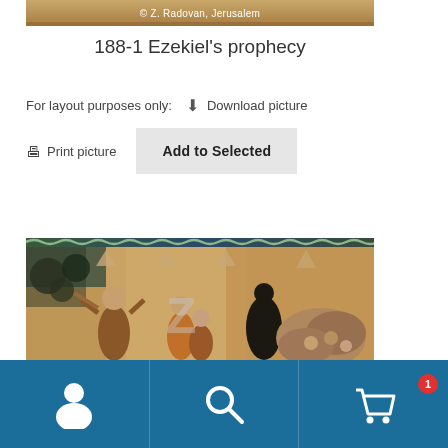[Figure (photo): Top strip of a painting or mosaic with copyright text '© Z. Radovan, Jerusalem']
188-1 Ezekiel's prophecy
For layout purposes only:   Download picture
Print picture   Add to Selected
[Figure (photo): Ancient fresco or illuminated manuscript scene showing biblical figures with raised arms, in warm brown and golden tones, with a watermark 'Z' overlaid. Scene depicts Ezekiel's prophecy with multiple human figures and symbolic imagery.]
Navigation footer with person icon, search icon, and cart icon (with badge showing 1)